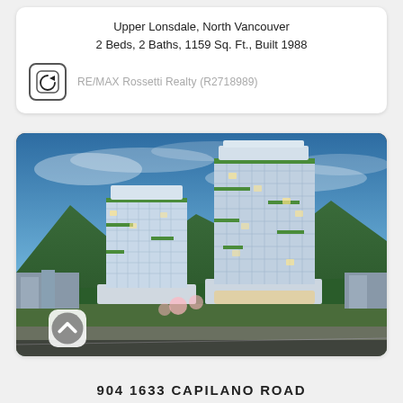Upper Lonsdale, North Vancouver
2 Beds, 2 Baths, 1159 Sq. Ft., Built 1988
RE/MAX Rossetti Realty (R2718989)
[Figure (photo): Architectural rendering of two modern high-rise residential towers with glass facades and green terraces, set against green mountains and a blue sky at dusk, with landscaped grounds and a road in front.]
904 1633 CAPILANO ROAD